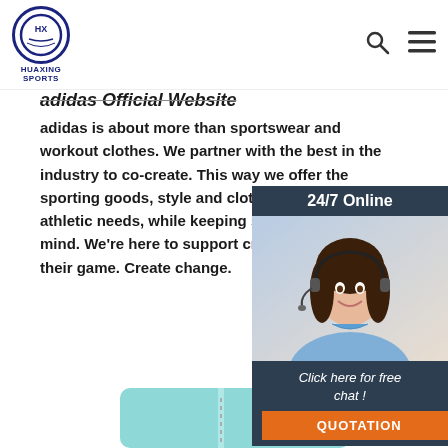Huaxing Sports — header with logo, search, and menu icons
adidas Official Website
adidas is about more than sportswear and workout clothes. We partner with the best in the industry to co-create. This way we offer the sporting goods, style and clothing the athletic needs, while keeping sustainability in mind. We're here to support creators. their game. Create change.
Get Price
[Figure (photo): 24/7 Online chat popup with woman wearing headset, blue/dark background, 'Click here for free chat!' text and QUOTATION button]
[Figure (photo): Product image: light blue/teal sleeveless vest/jacket with zipper, partially visible at bottom of page]
[Figure (infographic): TOP button graphic with orange dots arranged in triangle above orange TOP text]